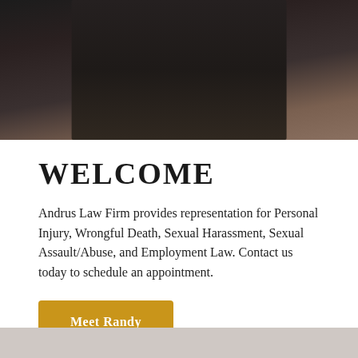[Figure (photo): Portrait photo of a man in a dark suit, upper body visible, against a dark brown background.]
WELCOME
Andrus Law Firm provides representation for Personal Injury, Wrongful Death, Sexual Harassment, Sexual Assault/Abuse, and Employment Law. Contact us today to schedule an appointment.
Meet Randy